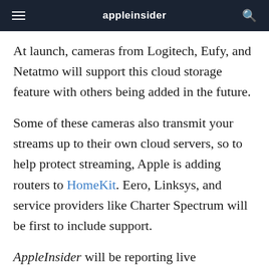appleinsider
At launch, cameras from Logitech, Eufy, and Netatmo will support this cloud storage feature with others being added in the future.
Some of these cameras also transmit your streams up to their own cloud servers, so to help protect streaming, Apple is adding routers to HomeKit. Eero, Linksys, and service providers like Charter Spectrum will be first to include support.
AppleInsider will be reporting live throughout WWDC 2019, starting with the keynote on Monday, June 3. Get every announcement as it happens by downloading the AppleInsider app